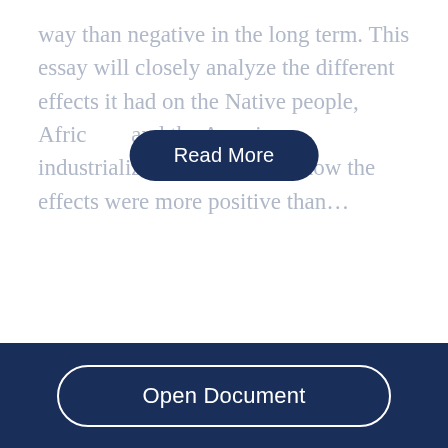way than negative in the long term. This essay will closely analyze the different effects it had on the Native people, African... and the American industrialization and outline how the effects were more positive than...
Commercialization Of Agriculture In India
1248 Words  | 5 Pages